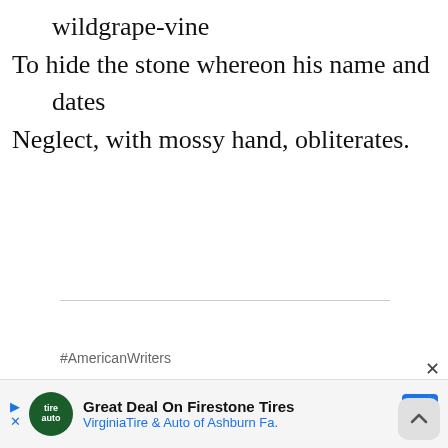wildgrape-vine
To hide the stone whereon his name and dates
Neglect, with mossy hand, obliterates.
#AmericanWriters
Great Deal On Firestone Tires VirginiaTire & Auto of Ashburn Fa.